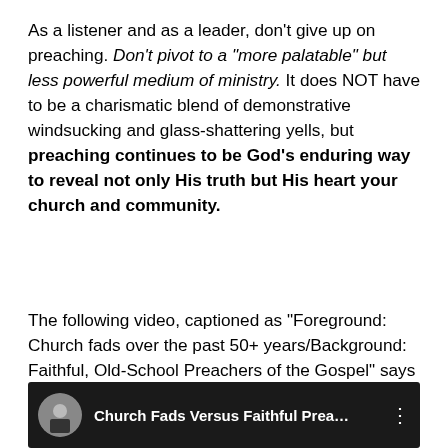As a listener and as a leader, don't give up on preaching. Don't pivot to a "more palatable" but less powerful medium of ministry. It does NOT have to be a charismatic blend of demonstrative windsucking and glass-shattering yells, but preaching continues to be God's enduring way to reveal not only His truth but His heart your church and community.
The following video, captioned as "Foreground: Church fads over the past 50+ years/Background: Faithful, Old-School Preachers of the Gospel" says it all:
[Figure (screenshot): Video thumbnail with dark background showing a man in a suit on the left (avatar/profile image) and a silhouette in the background. Text reads: Church Fads Versus Faithful Prea...]